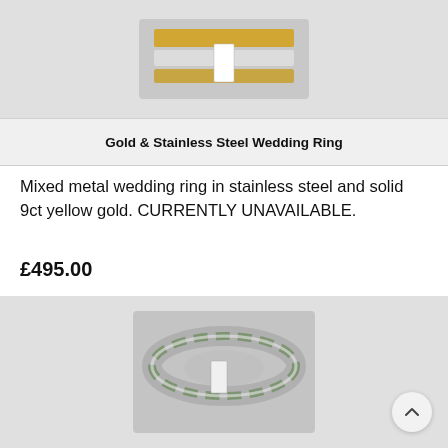[Figure (photo): Close-up photo of a Gold and Stainless Steel Wedding Ring viewed from above, showing gold and silver tones]
Gold & Stainless Steel Wedding Ring
Mixed metal wedding ring in stainless steel and solid 9ct yellow gold. CURRENTLY UNAVAILABLE.
£495.00
[Figure (photo): Close-up photo of a textured silver and green wedding ring viewed from a slight angle, showing intricate surface detail]